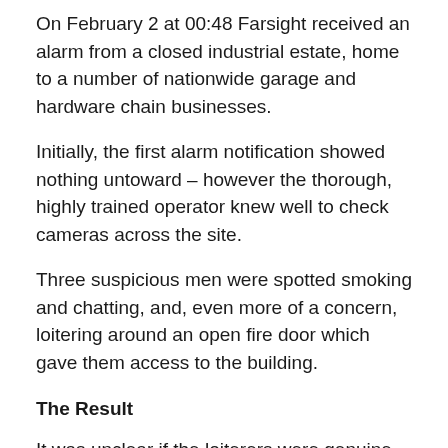On February 2 at 00:48 Farsight received an alarm from a closed industrial estate, home to a number of nationwide garage and hardware chain businesses.
Initially, the first alarm notification showed nothing untoward – however the thorough, highly trained operator knew well to check cameras across the site.
Three suspicious men were spotted smoking and chatting, and, even more of a concern, loitering around an open fire door which gave them access to the building.
The Result
It was unclear if the loiterers were genuine staff, or had some legal access to the building and estate, so our operator gave a live audio announcement to warn them of the site's closed, monitored status and asking them to identify themselves or leave.